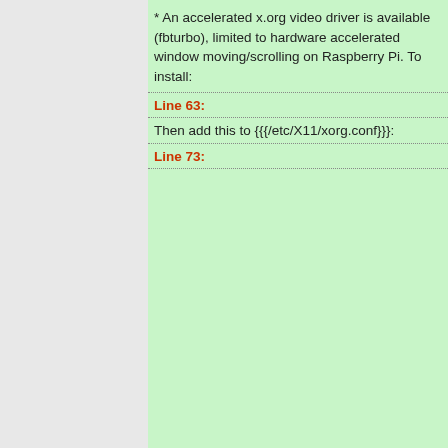* An accelerated x.org video driver is available (fbturbo), limited to hardware accelerated window moving/scrolling on Raspberry Pi. To install:
Line 63:
Then add this to {{{/etc/X11/xorg.conf}}}:
Line 73: